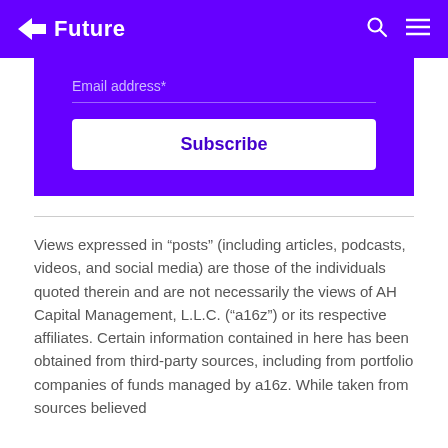Future
Email address*
Subscribe
Views expressed in “posts” (including articles, podcasts, videos, and social media) are those of the individuals quoted therein and are not necessarily the views of AH Capital Management, L.L.C. (“a16z”) or its respective affiliates. Certain information contained in here has been obtained from third-party sources, including from portfolio companies of funds managed by a16z. While taken from sources believed